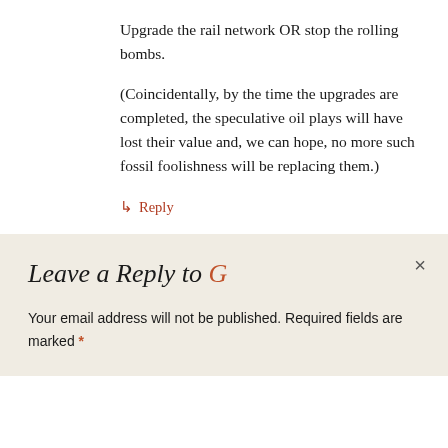Upgrade the rail network OR stop the rolling bombs.
(Coincidentally, by the time the upgrades are completed, the speculative oil plays will have lost their value and, we can hope, no more such fossil foolishness will be replacing them.)
↳ Reply
Leave a Reply to G
Your email address will not be published. Required fields are marked *